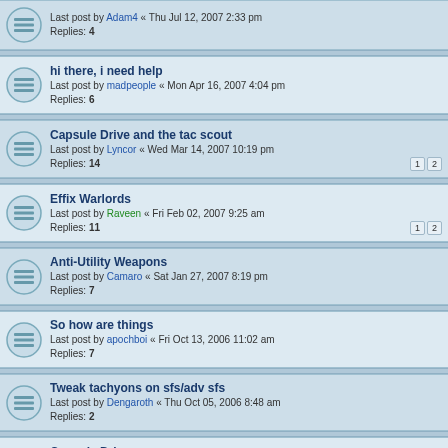Last post by Adam4 « Thu Jul 12, 2007 2:33 pm
Replies: 4
hi there, i need help
Last post by madpeople « Mon Apr 16, 2007 4:04 pm
Replies: 6
Capsule Drive and the tac scout
Last post by Lyncor « Wed Mar 14, 2007 10:19 pm
Replies: 14
Effix Warlords
Last post by Raveen « Fri Feb 02, 2007 9:25 am
Replies: 11
Anti-Utility Weapons
Last post by Camaro « Sat Jan 27, 2007 8:19 pm
Replies: 7
So how are things
Last post by apochboi « Fri Oct 13, 2006 11:02 am
Replies: 7
Tweak tachyons on sfs/adv sfs
Last post by Dengaroth « Thu Oct 05, 2006 8:48 am
Replies: 2
Capsule Drive
Last post by chasov « Sat Sep 16, 2006 11:51 pm
Replies: 22
[6a] Weak and Strong Factions
Last post by Dengaroth « Fri Sep 01, 2006 11:28 pm
can we get this on another core besides ETX